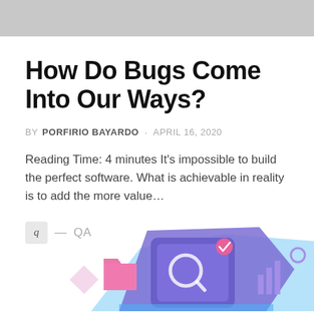How Do Bugs Come Into Our Ways?
BY PORFIRIO BAYARDO · APRIL 16, 2020
Reading Time: 4 minutes It's impossible to build the perfect software. What is achievable in reality is to add the more value...
q — QA
[Figure (illustration): Colorful illustration of a smartphone and folder icons with QA/software theme in blue, purple, and pink tones]